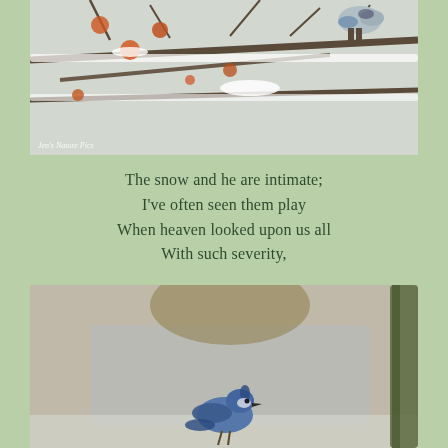[Figure (photo): Close-up photo of snow-covered tree branches with orange berries and a bird (blue jay) perched among them, in a wintry scene. Watermark 'Jen's Nature Pics' visible in lower left.]
The snow and he are intimate;
I've often seen them play
When heaven looked upon us all
With such severity,
[Figure (photo): Photo of a blue bird (blue jay) in flight or perched, with a blurred grey and tan background with snow. Mossy branch visible on right edge.]